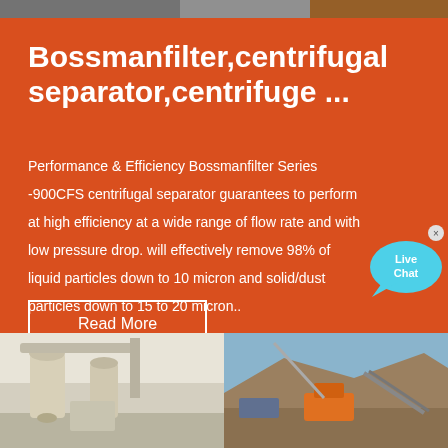[Figure (photo): Top image strip showing industrial/construction equipment]
Bossmanfilter,centrifugal separator,centrifuge ...
Performance & Efficiency Bossmanfilter Series -900CFS centrifugal separator guarantees to perform at high efficiency at a wide range of flow rate and with low pressure drop. will effectively remove 98% of liquid particles down to 10 micron and solid/dust particles down to 15 to 20 micron..
[Figure (illustration): Live Chat speech bubble icon in cyan/blue]
Read More
[Figure (photo): Bottom left: industrial dust collector / separator equipment (beige/white machinery with pipes and cyclone)]
[Figure (photo): Bottom right: outdoor quarry/mining site with orange heavy equipment and rocky terrain]